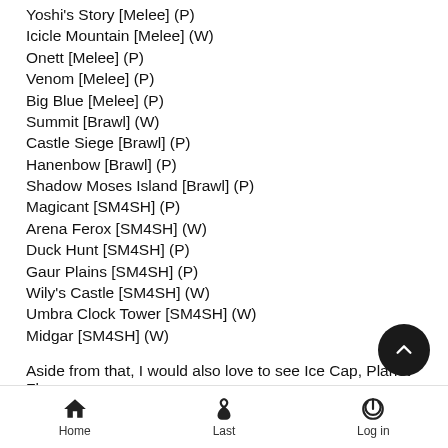Yoshi's Story [Melee] (P)
Icicle Mountain [Melee] (W)
Onett [Melee] (P)
Venom [Melee] (P)
Big Blue [Melee] (P)
Summit [Brawl] (W)
Castle Siege [Brawl] (P)
Hanenbow [Brawl] (P)
Shadow Moses Island [Brawl] (P)
Magicant [SM4SH] (P)
Arena Ferox [SM4SH] (W)
Duck Hunt [SM4SH] (P)
Gaur Plains [SM4SH] (P)
Wily's Castle [SM4SH] (W)
Umbra Clock Tower [SM4SH] (W)
Midgar [SM4SH] (W)
Aside from that, I would also love to see Ice Cap, Planet Flora
Home   Last   Log in